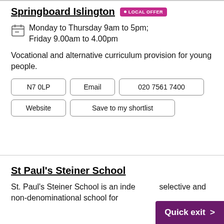Springboard Islington • LOCAL OFFER
Monday to Thursday 9am to 5pm; Friday 9.00am to 4.00pm
Vocational and alternative curriculum provision for young people.
N7 0LP
Email
020 7561 7400
Website
Save to my shortlist
St Paul's Steiner School
St. Paul's Steiner School is an inde selective and non-denominational school for